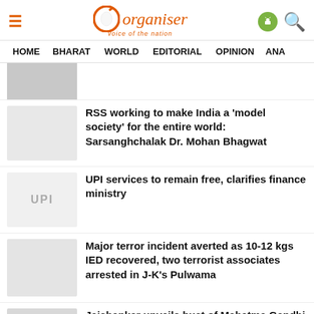Organiser - Voice of the Nation
HOME | BHARAT | WORLD | EDITORIAL | OPINION | ANA...
RSS working to make India a 'model society' for the entire world: Sarsanghchalak Dr. Mohan Bhagwat
UPI services to remain free, clarifies finance ministry
Major terror incident averted as 10-12 kgs IED recovered, two terrorist associates arrested in J-K's Pulwama
Jaishankar unveils bust of Mahatma Gandhi in Paraguay, terms it as statement